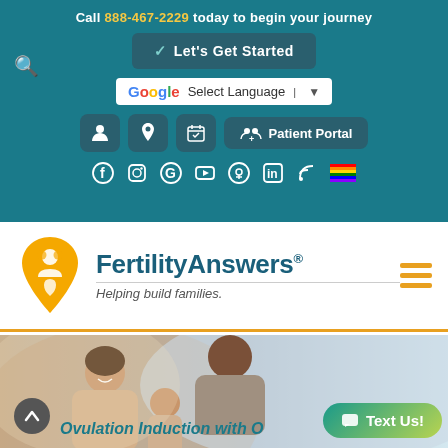Call 888-467-2229 today to begin your journey
Let's Get Started
Select Language
Patient Portal
[Figure (logo): FertilityAnswers logo with golden location pin / people icon and teal text reading 'FertilityAnswers®' and italic tagline 'Helping build families.']
[Figure (photo): Hero image of a family — woman, man, and child smiling together in warm natural light]
Ovulation Induction with O
Text Us!